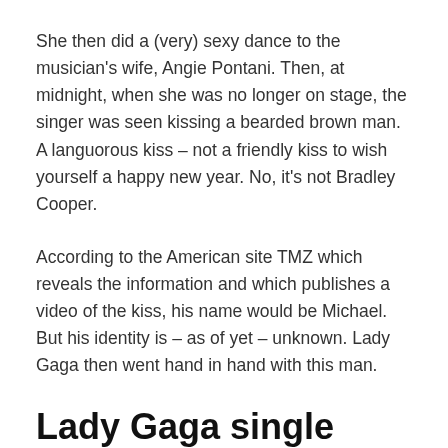She then did a (very) sexy dance to the musician's wife, Angie Pontani. Then, at midnight, when she was no longer on stage, the singer was seen kissing a bearded brown man. A languorous kiss – not a friendly kiss to wish yourself a happy new year. No, it's not Bradley Cooper.
According to the American site TMZ which reveals the information and which publishes a video of the kiss, his name would be Michael. But his identity is – as of yet – unknown. Lady Gaga then went hand in hand with this man.
Lady Gaga single since her breakup with Christian Carino
Last February, Lady Gaga had broken her engagement with Christian Carino, a music agent who was...